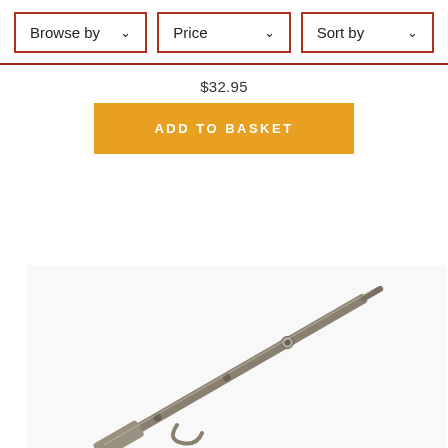[Figure (screenshot): Navigation bar with three dropdown filters: Browse by, Price, Sort by — each with a red/brown border and chevron arrow.]
$32.95
[Figure (other): Orange 'ADD TO BASKET' button]
[Figure (photo): Product photo of a metal crochet hook or needlework tool on a white background, shown diagonally.]